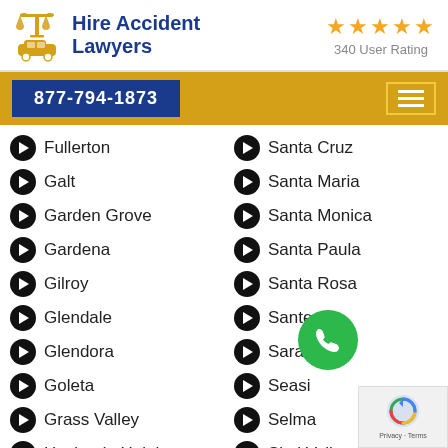[Figure (logo): Hire Accident Lawyers logo with scales of justice and car icon, plus 5-star rating showing '340 User Rating']
877-794-1873
Fullerton
Santa Cruz
Galt
Santa Maria
Garden Grove
Santa Monica
Gardena
Santa Paula
Gilroy
Santa Rosa
Glendale
Santee
Glendora
Saratoga
Goleta
Seaside
Grass Valley
Selma
Hacienda Heights
Simi Valley
Hanford
Soledad
Hawthorne
Sonoma